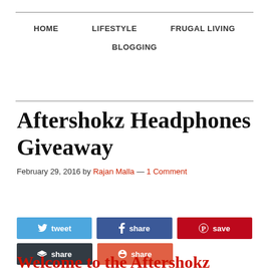HOME   LIFESTYLE   FRUGAL LIVING   BLOGGING
Aftershokz Headphones Giveaway
February 29, 2016 by Rajan Malla — 1 Comment
[Figure (infographic): Social sharing buttons: tweet (Twitter, blue), share (Facebook, dark blue), save (Pinterest, red), share (Buffer, dark), share (Google+, orange-red)]
Welcome to the Aftershokz